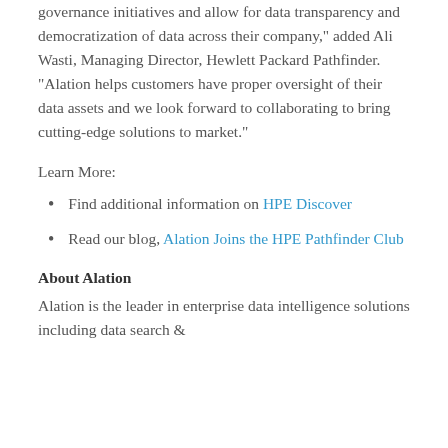governance initiatives and allow for data transparency and democratization of data across their company," added Ali Wasti, Managing Director, Hewlett Packard Pathfinder. "Alation helps customers have proper oversight of their data assets and we look forward to collaborating to bring cutting-edge solutions to market."
Learn More:
Find additional information on HPE Discover
Read our blog, Alation Joins the HPE Pathfinder Club
About Alation
Alation is the leader in enterprise data intelligence solutions including data search &